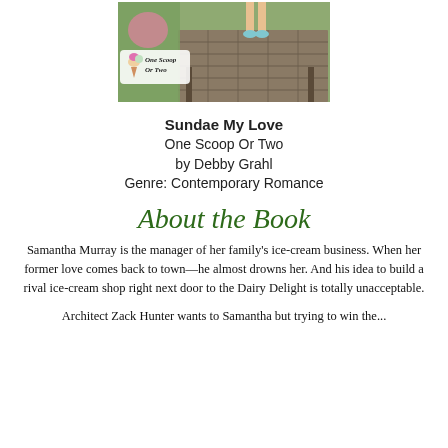[Figure (photo): Book cover image for 'One Scoop Or Two' / 'Sundae My Love' showing a person standing on a wooden pier/dock with an ice cream logo overlay. Green and outdoor background.]
Sundae My Love
One Scoop Or Two
by Debby Grahl
Genre: Contemporary Romance
About the Book
Samantha Murray is the manager of her family's ice-cream business. When her former love comes back to town—he almost drowns her. And his idea to build a rival ice-cream shop right next door to the Dairy Delight is totally unacceptable.
Architect Zack Hunter wants to Samantha but trying to win the...